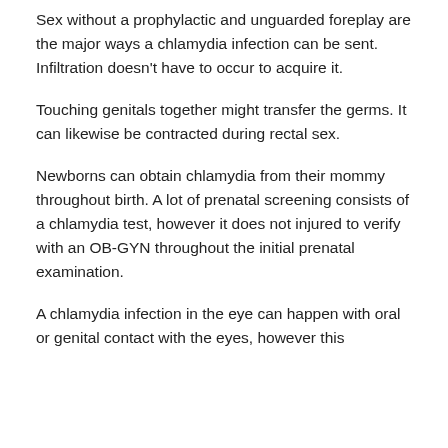Sex without a prophylactic and unguarded foreplay are the major ways a chlamydia infection can be sent. Infiltration doesn't have to occur to acquire it.
Touching genitals together might transfer the germs. It can likewise be contracted during rectal sex.
Newborns can obtain chlamydia from their mommy throughout birth. A lot of prenatal screening consists of a chlamydia test, however it does not injured to verify with an OB-GYN throughout the initial prenatal examination.
A chlamydia infection in the eye can happen with oral or genital contact with the eyes, however this